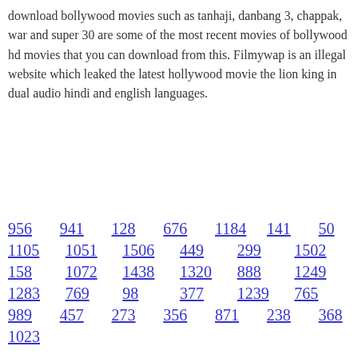download bollywood movies such as tanhaji, danbang 3, chappak, war and super 30 are some of the most recent movies of bollywood hd movies that you can download from this. Filmywap is an illegal website which leaked the latest hollywood movie the lion king in dual audio hindi and english languages.
956  941  128  676  1184  141  50
1105  1051  1506  449  299  1502
158  1072  1438  1320  888  1249
1283  769  98  377  1239  765
989  457  273  356  871  238  368
1023